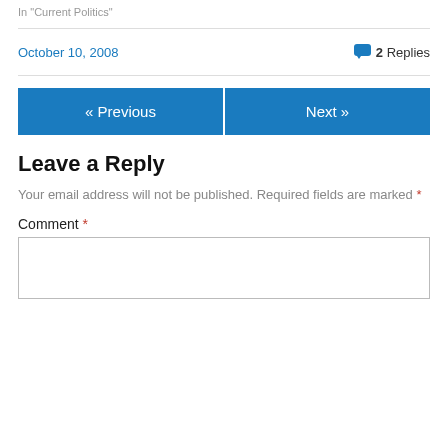In "Current Politics"
October 10, 2008
2 Replies
« Previous
Next »
Leave a Reply
Your email address will not be published. Required fields are marked *
Comment *